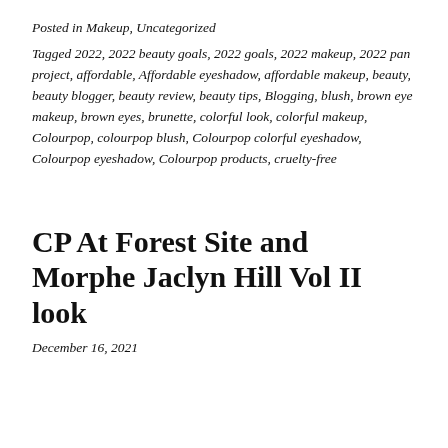Posted in Makeup, Uncategorized
Tagged 2022, 2022 beauty goals, 2022 goals, 2022 makeup, 2022 pan project, affordable, Affordable eyeshadow, affordable makeup, beauty, beauty blogger, beauty review, beauty tips, Blogging, blush, brown eye makeup, brown eyes, brunette, colorful look, colorful makeup, Colourpop, colourpop blush, Colourpop colorful eyeshadow, Colourpop eyeshadow, Colourpop products, cruelty-free
CP At Forest Site and Morphe Jaclyn Hill Vol II look
December 16, 2021